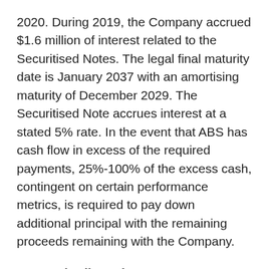2020. During 2019, the Company accrued $1.6 million of interest related to the Securitised Notes. The legal final maturity date is January 2037 with an amortising maturity of December 2029. The Securitised Note accrues interest at a stated 5% rate. In the event that ABS has cash flow in excess of the required payments, 25%-100% of the excess cash, contingent on certain performance metrics, is required to pay down additional principal with the remaining proceeds remaining with the Company.
EPS and Adjusted EBITDA
DGO reported statutory earnings for 2019 per diluted ordinary share of $0.15 compared to $0.52 per diluted ordinary share in 2018. However, when adjusted for certain non-cash items, DGO reported adjusted EBITDA